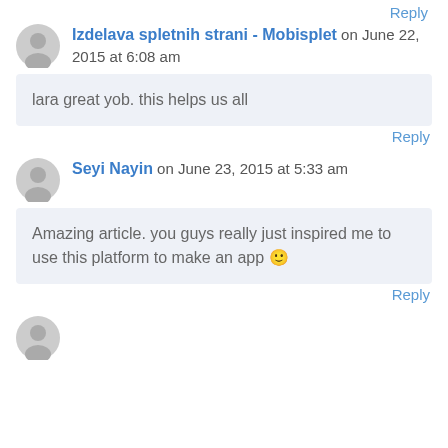Reply
Izdelava spletnih strani - Mobisplet on June 22, 2015 at 6:08 am
lara great yob. this helps us all
Reply
Seyi Nayin on June 23, 2015 at 5:33 am
Amazing article. you guys really just inspired me to use this platform to make an app 🙂
Reply